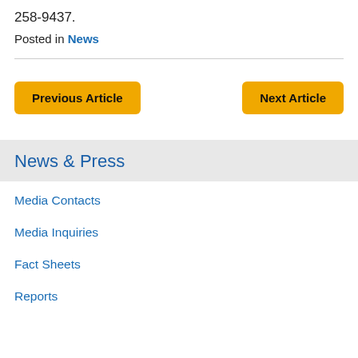258-9437.
Posted in News
Previous Article
Next Article
News & Press
Media Contacts
Media Inquiries
Fact Sheets
Reports